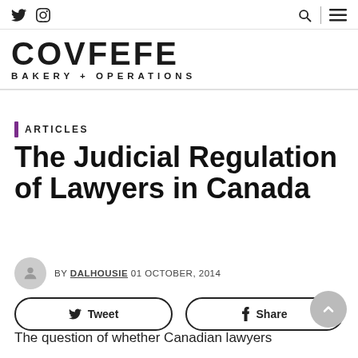COVFEFE BAKERY + OPERATIONS
ARTICLES
The Judicial Regulation of Lawyers in Canada
BY DALHOUSIE 01 OCTOBER, 2014
Tweet  Share
The question of whether Canadian lawyers